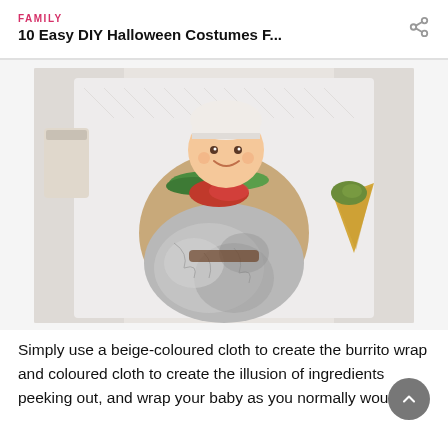FAMILY
10 Easy DIY Halloween Costumes F...
[Figure (photo): A baby dressed as a burrito costume lying on a white blanket. The baby is wrapped in foil at the bottom and has beige, red, and green cloth to simulate burrito ingredients. The baby is smiling and wearing a white hat. A small yellow cone-shaped chip/guacamole prop is visible to the right.]
Simply use a beige-coloured cloth to create the burrito wrap and coloured cloth to create the illusion of ingredients peeking out, and wrap your baby as you normally would.